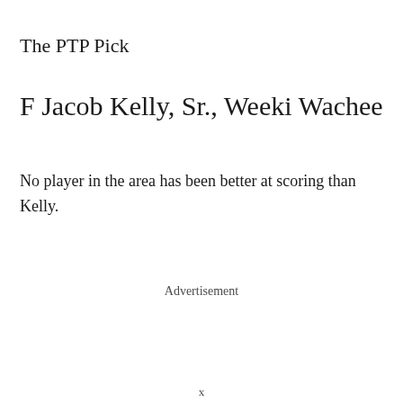The PTP Pick
F Jacob Kelly, Sr., Weeki Wachee
No player in the area has been better at scoring than Kelly.
Advertisement
x